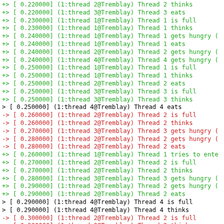Log output showing thread simulation events with timestamps, thread IDs, and state transitions (eats, thinks, is full, gets hungry, tries to enter).